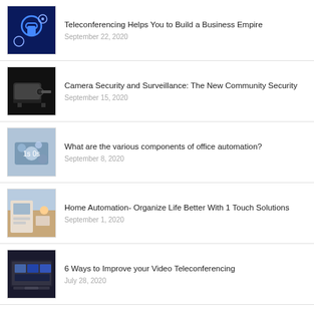Teleconferencing Helps You to Build a Business Empire | September 22, 2020
Camera Security and Surveillance: The New Community Security | September 15, 2020
What are the various components of office automation? | September 8, 2020
Home Automation- Organize Life Better With 1 Touch Solutions | September 1, 2020
6 Ways to Improve your Video Teleconferencing | July 28, 2020
Archives
> September 2020
> July 2020
> June 2020